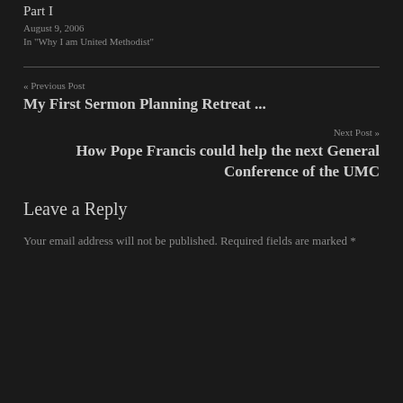Part I
August 9, 2006
In "Why I am United Methodist"
« Previous Post
My First Sermon Planning Retreat ...
Next Post »
How Pope Francis could help the next General Conference of the UMC
Leave a Reply
Your email address will not be published. Required fields are marked *